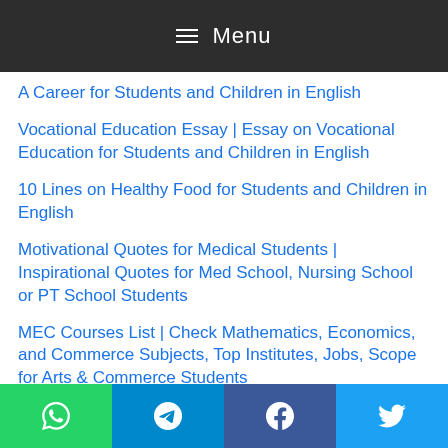Menu
A Career for Students and Children in English
Vocational Education Essay | Essay on Vocational Education for Students and Children in English
10 Lines on Healthy Food for Students and Children in English
Motivational Quotes for Medical Students | Inspirational Quotes for Med School, Nursing School or PT School Students
MEC Courses List | Check Mathematics, Economics, and Commerce Subjects, Top Institutes, Jobs, Scope for Arts & Commerce Students